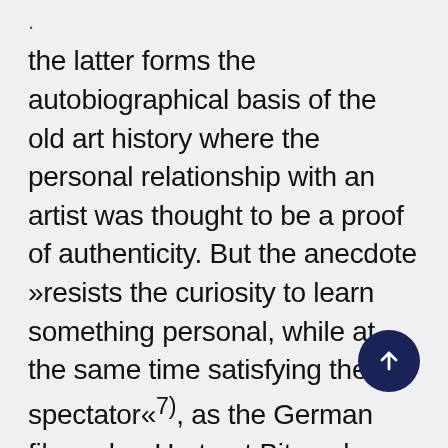the latter forms the autobiographical basis of the old art history where the personal relationship with an artist was thought to be a proof of authenticity. But the anecdote »resists the curiosity to learn something personal, while at the same time satisfying the spectator«⁷⁾, as the German filmmaker Hartmut Bitomsky argues.
The conscious decision to not only allow one artist his word